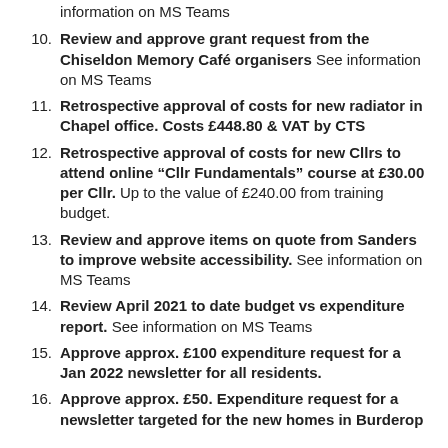information on MS Teams
10. Review and approve grant request from the Chiseldon Memory Café organisers See information on MS Teams
11. Retrospective approval of costs for new radiator in Chapel office. Costs £448.80 & VAT by CTS
12. Retrospective approval of costs for new Cllrs to attend online "Cllr Fundamentals" course at £30.00 per Cllr. Up to the value of £240.00 from training budget.
13. Review and approve items on quote from Sanders to improve website accessibility. See information on MS Teams
14. Review April 2021 to date budget vs expenditure report. See information on MS Teams
15. Approve approx. £100 expenditure request for a Jan 2022 newsletter for all residents.
16. Approve approx. £50. Expenditure request for a newsletter targeted for the new homes in Burderop